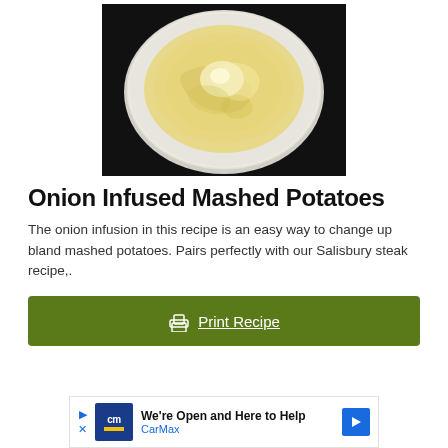[Figure (photo): Overhead photo of mashed potatoes in a white bowl on a dark background. The mashed potatoes are pale yellow/cream colored with swirled texture.]
Onion Infused Mashed Potatoes
The onion infusion in this recipe is an easy way to change up bland mashed potatoes. Pairs perfectly with our Salisbury steak recipe,.
[Figure (screenshot): Green button with printer icon and underlined text 'Print Recipe']
[Figure (screenshot): Advertisement banner: CarMax logo, text 'We're Open and Here to Help', 'CarMax' in blue, with blue directional arrow icon on right and play/close controls on left.]